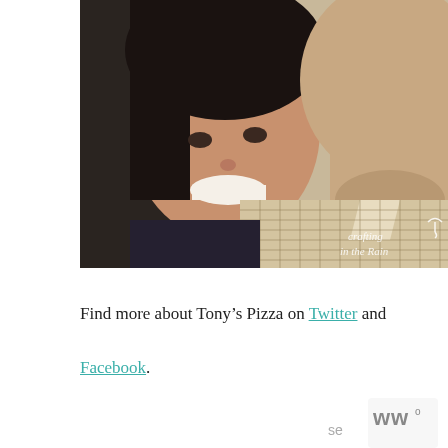[Figure (photo): A selfie photo of a smiling woman with dark hair and a man in a plaid shirt. A watermark in the bottom-right corner reads 'Crafting in the Rain' with an umbrella icon.]
Find more about Tony's Pizza on Twitter and Facebook.
[Figure (logo): Partial logo/branding element in bottom-right corner showing stylized 'W' letters and text 'se' — appears to be a partial website watermark or badge.]